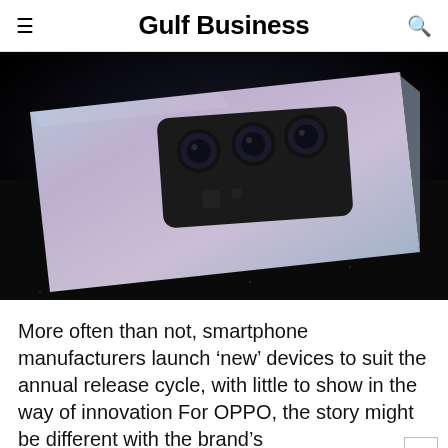Gulf Business
[Figure (photo): OPPO smartphone lying face-down on a dark textured surface, showing the rear camera module with multiple lenses arranged in a square housing. The phone has a gradient silver-to-purple finish. The background is black with sparkle textures.]
More often than not, smartphone manufacturers launch ‘new’ devices to suit the annual release cycle, with little to show in the way of innovation For OPPO, the story might be different with the brand’s